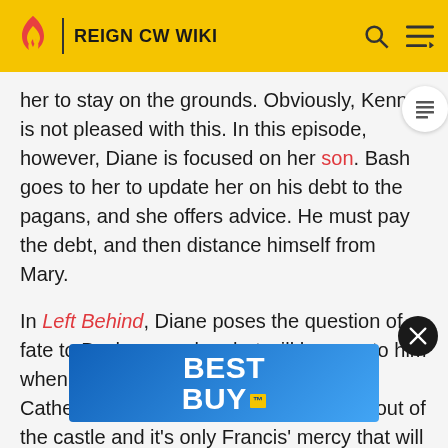REIGN CW WIKI
her to stay on the grounds. Obviously, Kenna is not pleased with this. In this episode, however, Diane is focused on her son. Bash goes to her to update her on his debt to the pagans, and she offers advice. He must pay the debt, and then distance himself from Mary.
In Left Behind, Diane poses the question of fate to Bash - namely, what will happen to him when Henry dies. Once that happens, Catherine will surely have Diane tossed out of the castle and it's only Francis' mercy that will save Bash from a road he doesn't want to go down. Her plan is to have Henry and Catherine's marriage annulled and Bash de... of success... by bribing
[Figure (other): Best Buy advertisement banner overlay in blue gradient]